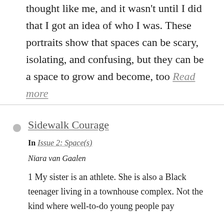thought like me, and it wasn't until I did that I got an idea of who I was. These portraits show that spaces can be scary, isolating, and confusing, but they can be a space to grow and become, too Read more
Sidewalk Courage
In Issue 2: Space(s)
Niara van Gaalen
1 My sister is an athlete. She is also a Black teenager living in a townhouse complex. Not the kind where well-to-do young people pay